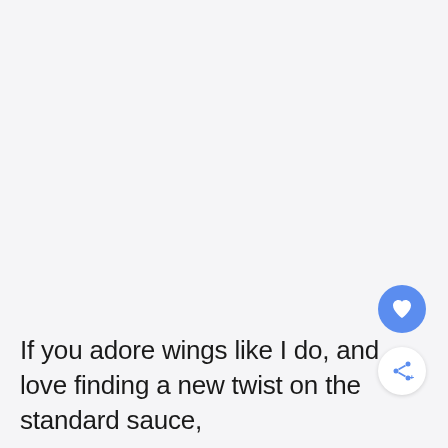If you adore wings like I do, and love finding a new twist on the standard sauce,
[Figure (illustration): Heart (favorite) button - blue circular button with white heart icon]
[Figure (illustration): Share button - white circular button with blue share/network icon and plus symbol]